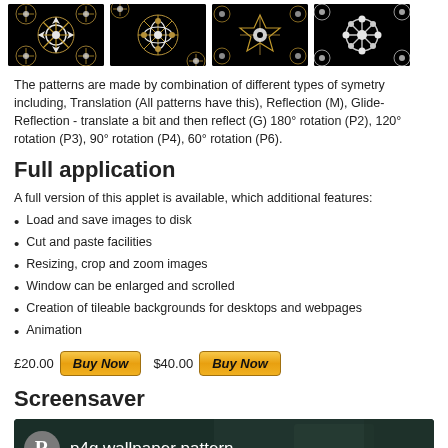[Figure (photo): Four thumbnail images of black and gold/white fractal snowflake wallpaper patterns arranged in a row]
The patterns are made by combination of different types of symetry including, Translation (All patterns have this), Reflection (M), Glide-Reflection - translate a bit and then reflect (G) 180° rotation (P2), 120° rotation (P3), 90° rotation (P4), 60° rotation (P6).
Full application
A full version of this applet is available, which additional features:
Load and save images to disk
Cut and paste facilities
Resizing, crop and zoom images
Window can be enlarged and scrolled
Creation of tileable backgrounds for desktops and webpages
Animation
£20.00  Buy Now  $40.00  Buy Now
Screensaver
[Figure (screenshot): Video thumbnail showing 'p4g wallpaper pattern' with a grey R icon on dark teal background]